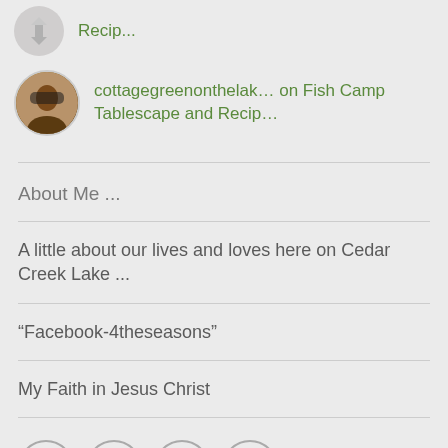Recip...
[Figure (photo): Circular avatar photo of a person with sunglasses outdoors]
cottagegreenonthelak... on Fish Camp Tablescape and Recip...
About Me ...
A little about our lives and loves here on Cedar Creek Lake ...
“Facebook-4theseasons”
My Faith in Jesus Christ
[Figure (illustration): Row of four circular icon buttons: three with circular arrow/refresh icons and one with a Facebook 'f' logo]